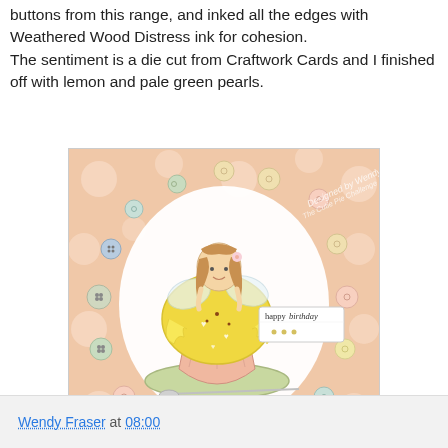buttons from this range, and inked all the edges with Weathered Wood Distress ink for cohesion. The sentiment is a die cut from Craftwork Cards and I finished off with lemon and pale green pearls.
[Figure (photo): A handmade birthday card featuring a fairy sitting on a large yellow cupcake, surrounded by a heart shape made of pastel-colored buttons. The card includes a 'happy birthday' tag and sits on a polka dot and striped background. Stamped text reads 'Designed by Wendy, The Cutie Pie Challenge'.]
Wendy Fraser at 08:00